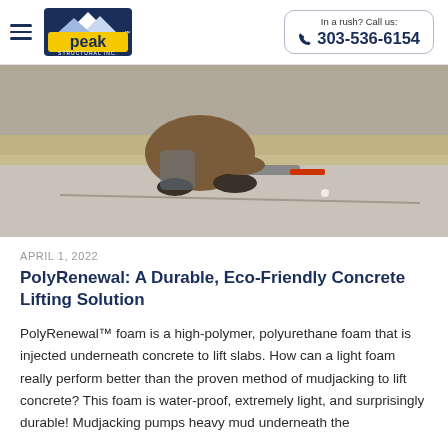In a rush? Call us: 303-536-6154
[Figure (photo): Worker crouching on a concrete slab surface, injecting material into a crack using a caulking gun with a red tip. Dry grass visible in the background.]
APRIL 1, 2022
PolyRenewal: A Durable, Eco-Friendly Concrete Lifting Solution
PolyRenewal™ foam is a high-polymer, polyurethane foam that is injected underneath concrete to lift slabs. How can a light foam really perform better than the proven method of mudjacking to lift concrete? This foam is water-proof, extremely light, and surprisingly durable! Mudjacking pumps heavy mud underneath the concrete to lift slabs, but that's just for...